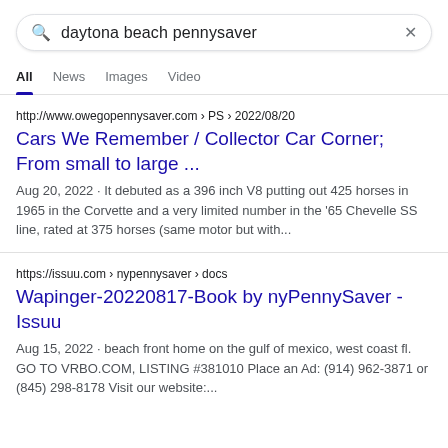daytona beach pennysaver
All  News  Images  Video
http://www.owegopennysaver.com › PS › 2022/08/20
Cars We Remember / Collector Car Corner; From small to large ...
Aug 20, 2022 · It debuted as a 396 inch V8 putting out 425 horses in 1965 in the Corvette and a very limited number in the '65 Chevelle SS line, rated at 375 horses (same motor but with...
https://issuu.com › nypennysaver › docs
Wapinger-20220817-Book by nyPennySaver - Issuu
Aug 15, 2022 · beach front home on the gulf of mexico, west coast fl. GO TO VRBO.COM, LISTING #381010 Place an Ad: (914) 962-3871 or (845) 298-8178 Visit our website:...